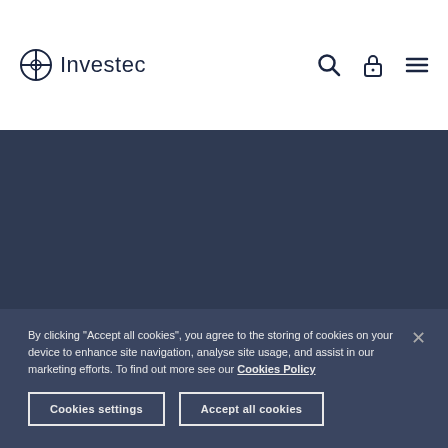Investec
[Figure (logo): FSCS Protected logo – circular badge with stylized 'f' and 'scs' lettering, with 'Protected' text below]
By clicking “Accept all cookies”, you agree to the storing of cookies on your device to enhance site navigation, analyse site usage, and assist in our marketing efforts. To find out more see our Cookies Policy
Cookies settings
Accept all cookies